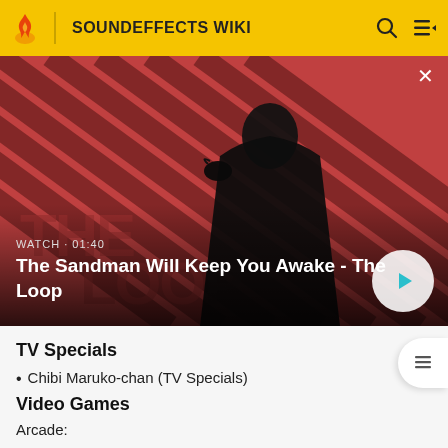SOUNDEFFECTS WIKI
[Figure (photo): Video thumbnail showing a dark-cloaked figure with a raven on their shoulder, against a red and black diagonal stripe background. Text overlay reads: WATCH · 01:40. Title: The Sandman Will Keep You Awake - The Loop. Play button on right.]
TV Specials
Chibi Maruko-chan (TV Specials)
Video Games
Arcade: